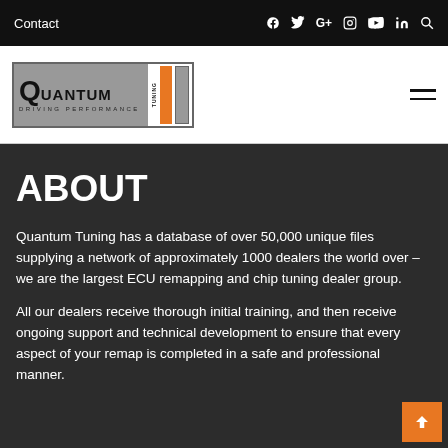Contact  [social icons: Facebook, Twitter, G+, Instagram, YouTube, LinkedIn, Search]
[Figure (logo): Quantum Tuning – Driving Performance logo with orange and gray vertical bars]
ABOUT
Quantum Tuning has a database of over 50,000 unique files supplying a network of approximately 1000 dealers the world over – we are the largest ECU remapping and chip tuning dealer group.
All our dealers receive thorough initial training, and then receive ongoing support and technical development to ensure that every aspect of your remap is completed in a safe and professional manner.